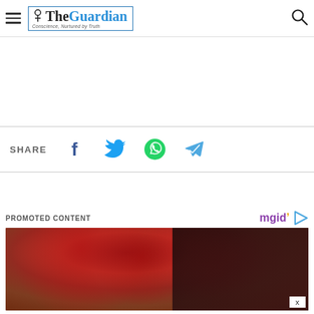The Guardian — Conscience, Nurtured by Truth
SHARE
[Figure (other): Social share icons: Facebook, Twitter, WhatsApp, Telegram]
PROMOTED CONTENT
[Figure (photo): Woman with red roses in dark hair, promotional content image]